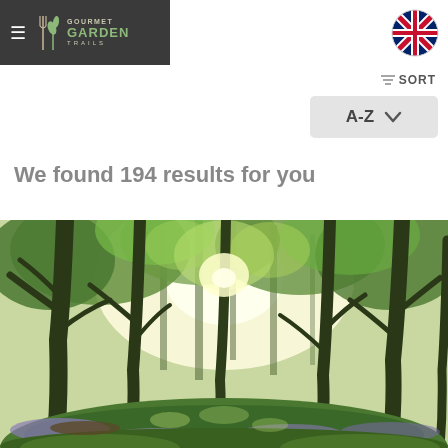Gourmet Garden Trails - navigation header with logo and UK flag
SORT
A-Z
We found 194 results for you
[Figure (photo): Sunlit forest with tall trees, green foliage canopy, and bluebells on the forest floor]